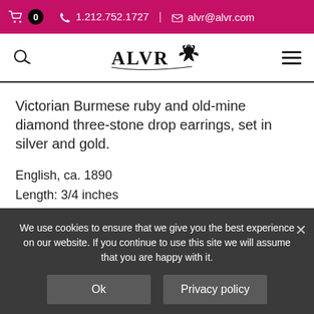🛒 0   📞 1.212.752.1727  |  ✉ alvr@alvr.com
[Figure (logo): ALVR logo with eagle emblem]
Victorian Burmese ruby and old-mine diamond three-stone drop earrings, set in silver and gold.
English, ca. 1890
Length: 3/4 inches
$10,000
This item is available for purchase in the ALVR shop.
We use cookies to ensure that we give you the best experience on our website. If you continue to use this site we will assume that you are happy with it.
Ok    Privacy policy